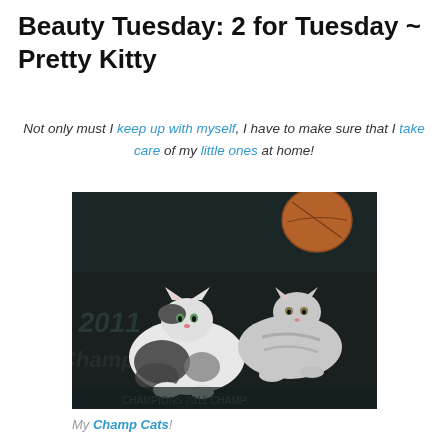Beauty Tuesday: 2 for Tuesday ~ Pretty Kitty
Not only must I keep up with myself, I have to make sure that I take care of my little ones at home!
[Figure (photo): Two cats lying on a dark sports blanket with '2011 Champions' text and a basketball visible in the background]
My Champ Cats!